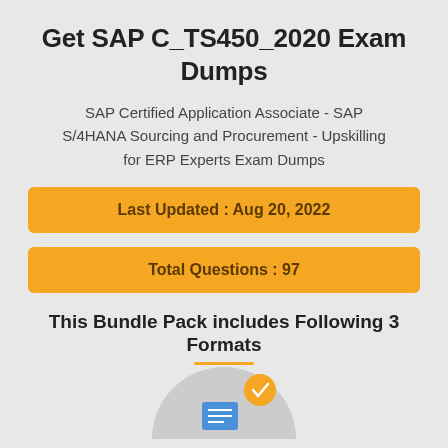Get SAP C_TS450_2020 Exam Dumps
SAP Certified Application Associate - SAP S/4HANA Sourcing and Procurement - Upskilling for ERP Experts Exam Dumps
Last Updated : Aug 20, 2022
Total Questions : 97
This Bundle Pack includes Following 3 Formats
[Figure (illustration): Partial bottom graphic showing a grey semicircle with a document/laptop icon inside and an orange checkmark badge on the upper right]